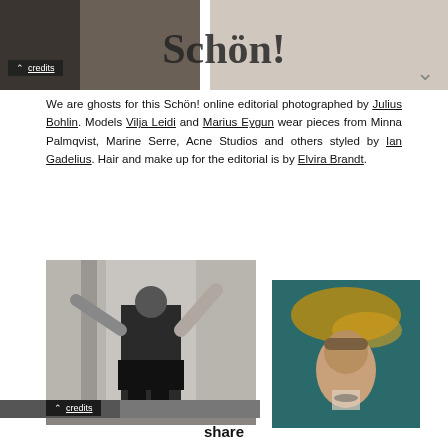[Figure (photo): Top banner with Schön! magazine logo and partially visible fashion photos, with credits button and chevron]
We are ghosts for this Schön! online editorial photographed by Julius Bohlin. Models Vilja Leidi and Marius Eygun wear pieces from Minna Palmqvist, Marine Serre, Acne Studios and others styled by Ian Gadelius. Hair and make up for the editorial is by Elvira Brandt.
[Figure (photo): Black and white fashion photo of a male model in a white top and dark skirt with boots, arms raised, in an architectural setting]
[Figure (photo): Color close-up fashion photo of a female model against a teal/turquoise fabric backdrop with yellow texture]
share